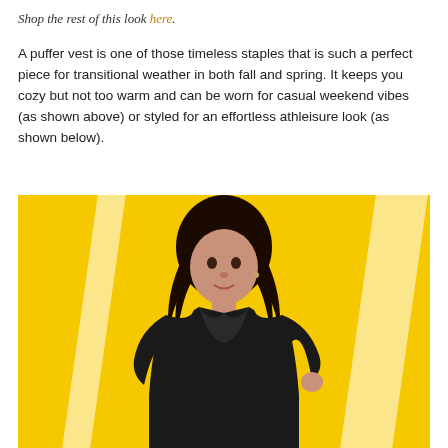Shop the rest of this look here.
A puffer vest is one of those timeless staples that is such a perfect piece for transitional weather in both fall and spring. It keeps you cozy but not too warm and can be worn for casual weekend vibes (as shown above) or styled for an effortless athleisure look (as shown below).
[Figure (photo): A woman with dark hair wearing a black puffer vest/jacket, standing in front of a bright yellow wall with white stripe decorations.]